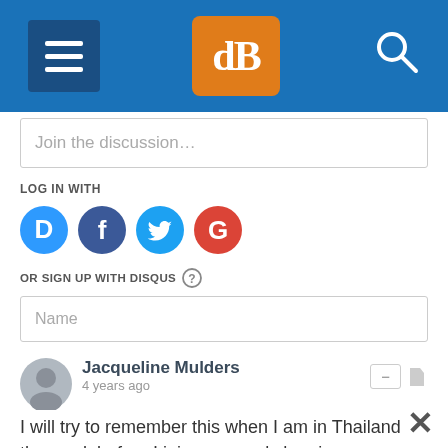[Figure (screenshot): Website header bar with hamburger menu icon on left, dPS logo (orange square with white dB letters) in center, and search icon on right, all on blue background]
Join the discussion…
LOG IN WITH
[Figure (infographic): Four social login icons: Disqus (blue D), Facebook (dark blue F), Twitter (light blue bird), Google (red G)]
OR SIGN UP WITH DISQUS ?
Name
Jacqueline Mulders
4 years ago
I will try to remember this when I am in Thailand the week before I join your workshop in September. Then you can critique the photos I already took before coming to Chiang Mai :-)